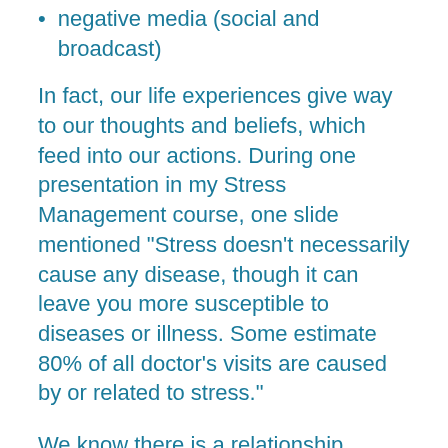negative media (social and broadcast)
In fact, our life experiences give way to our thoughts and beliefs, which feed into our actions. During one presentation in my Stress Management course, one slide mentioned “Stress doesn’t necessarily cause any disease, though it can leave you more susceptible to diseases or illness. Some estimate 80% of all doctor’s visits are caused by or related to stress.”
We know there is a relationship between stress and disease. If we can find ways to intercept the events in our lives that tend to